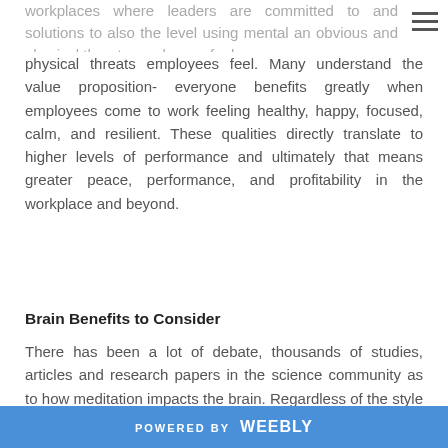workplaces where leaders are committed to and solutions to also the level using mental an obvious and physical threats employees feel. Many understand the value proposition- everyone benefits greatly when employees come to work feeling healthy, happy, focused, calm, and resilient. These qualities directly translate to higher levels of performance and ultimately that means greater peace, performance, and profitability in the workplace and beyond.
Brain Benefits to Consider
There has been a lot of debate, thousands of studies, articles and research papers in the science community as to how meditation impacts the brain. Regardless of the style of meditation, it all boils down to one thing-it's ALL GOOD.  Here are a few benefits if you're new, you
POWERED BY Weebly